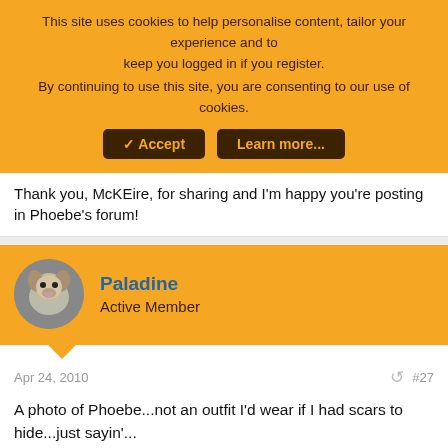This site uses cookies to help personalise content, tailor your experience and to keep you logged in if you register.
By continuing to use this site, you are consenting to our use of cookies.
Thank you, McKEire, for sharing and I'm happy you're posting in Phoebe's forum!
Paladine
Active Member
Apr 24, 2010
#27
A photo of Phoebe...not an outfit I'd wear if I had scars to hide...just sayin'...
Attachments